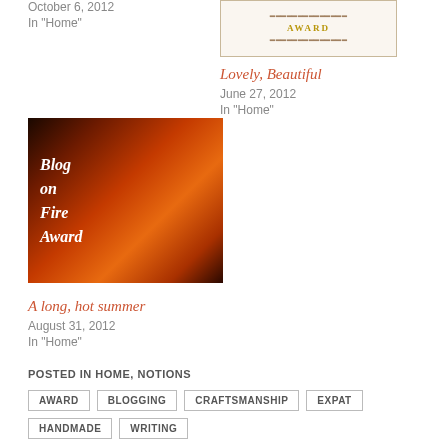October 6, 2012
In "Home"
[Figure (illustration): Award certificate image with decorative border and text 'AWARD']
Lovely, Beautiful
June 27, 2012
In "Home"
[Figure (photo): Blog on Fire Award image showing fire background with cursive white text reading 'Blog on Fire Award']
A long, hot summer
August 31, 2012
In "Home"
POSTED IN HOME, NOTIONS
AWARD
BLOGGING
CRAFTSMANSHIP
EXPAT
HANDMADE
WRITING